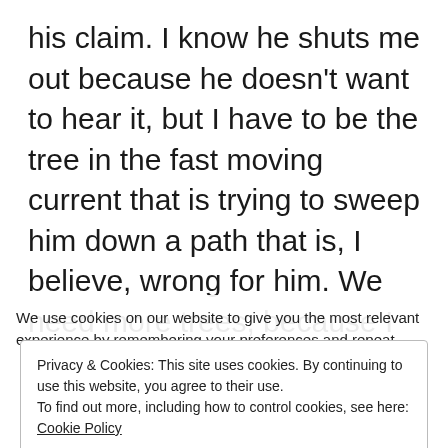his claim. I know he shuts me out because he doesn't want to hear it, but I have to be the tree in the fast moving current that is trying to sweep him down a path that is, I believe, wrong for him. We need more trees, because I don't think many parents get the right information or even know how to find it. Everyone wants to do what is right for their children and I am
We use cookies on our website to give you the most relevant experience by remembering your preferences and repeat
Privacy & Cookies: This site uses cookies. By continuing to use this website, you agree to their use.
To find out more, including how to control cookies, see here: Cookie Policy
Close and accept